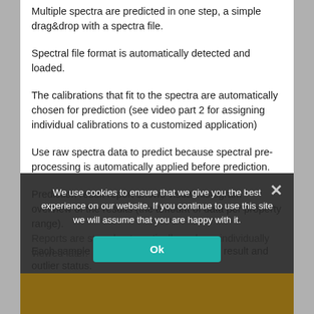Multiple spectra are predicted in one step, a simple drag&drop with a spectra file.
Spectral file format is automatically detected and loaded.
The calibrations that fit to the spectra are automatically chosen for prediction (see video part 2 for assigning individual calibrations to a customized application)
Use raw spectra data to predict because spectral pre-processing is automatically applied before prediction.
Prediction result report shows visual histogram overview of the results (the amount of data per property range).
Each sample spectrum is listed in detailed result and outlier status.
Reports are stored automatically and can individually viewed later.
We use cookies to ensure that we give you the best experience on our website. If you continue to use this site we will assume that you are happy with it.